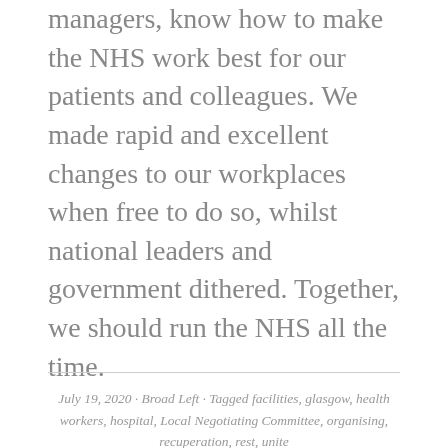managers, know how to make the NHS work best for our patients and colleagues. We made rapid and excellent changes to our workplaces when free to do so, whilst national leaders and government dithered. Together, we should run the NHS all the time.
July 19, 2020 · Broad Left · Tagged facilities, glasgow, health workers, hospital, Local Negotiating Committee, organising, recuperation, rest, unite
PAY WHEN ROTATION HAS BEEN CANCELLED
News, Organising, Pay